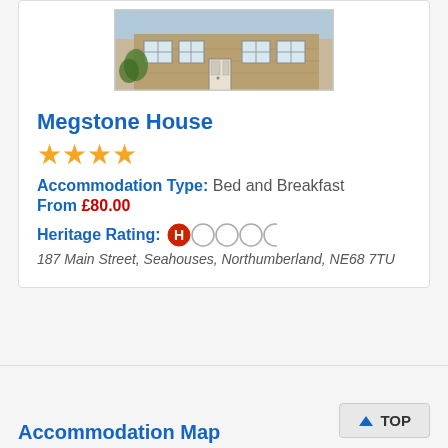[Figure (photo): Exterior photo of Megstone House, a stone building with white-framed windows and a door, partially visible at top of card]
Megstone House
★★★★ (4 stars)
Accommodation Type: Bed and Breakfast
From £80.00
Heritage Rating: H○○○○
187 Main Street, Seahouses, Northumberland, NE68 7TU
↑ TOP
Accommodation Map